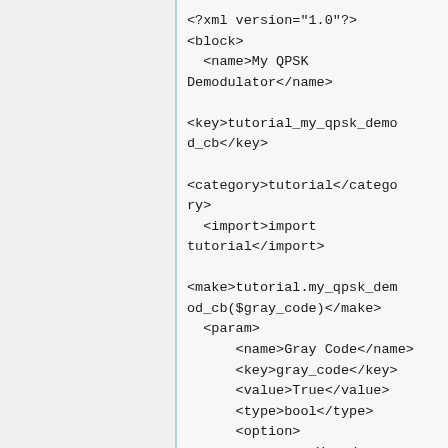<?xml version="1.0"?>
<block>
  <name>My QPSK Demodulator</name>

<key>tutorial_my_qpsk_demod_cb</key>

<category>tutorial</category>
  <import>import tutorial</import>

<make>tutorial.my_qpsk_demod_cb($gray_code)</make>
  <param>
      <name>Gray Code</name>
      <key>gray_code</key>
      <value>True</value>
      <type>bool</type>
      <option>
          <name>Yes</name>
          <key>True</key>
      </option>